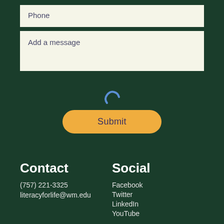Phone
Add a message
[Figure (other): Blue loading spinner icon]
Submit
Contact
(757) 221-3325
literacyforlife@wm.edu
Social
Facebook
Twitter
LinkedIn
YouTube